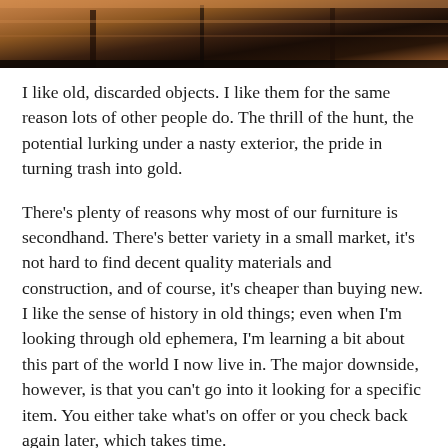[Figure (photo): Partial photo of wooden furniture — a table with warm brown tones visible at the top of the page]
I like old, discarded objects. I like them for the same reason lots of other people do. The thrill of the hunt, the potential lurking under a nasty exterior, the pride in turning trash into gold.
There's plenty of reasons why most of our furniture is secondhand. There's better variety in a small market, it's not hard to find decent quality materials and construction, and of course, it's cheaper than buying new. I like the sense of history in old things; even when I'm looking through old ephemera, I'm learning a bit about this part of the world I now live in. The major downside, however, is that you can't go into it looking for a specific item. You either take what's on offer or you check back again later, which takes time.
I hadn't looked on Gumtree on months (it's like Craigslist, but without the serial killers) because the signal-to-noise ratio